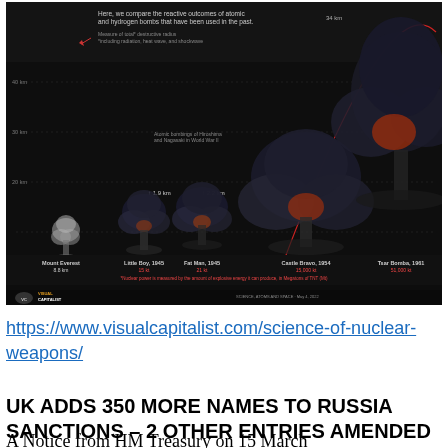[Figure (infographic): Visual Capitalist infographic comparing the destructive radii of atomic and hydrogen bombs used in the past. Shows mushroom clouds of increasing size labelled: Mount Everest (8.8 km), Little Boy 1945 (15 kt), Fat Man 1945 (21 kt), Castle Bravo 1954 (15,000 kt), Tsar Bomba 1961 (51,000 kt). Features a dark background with red arcs showing blast radii. Nuclear yield is measured by the amount of explosive energy it can produce, in Megatons of TNT (Mt). Source: Visual Capitalist.]
https://www.visualcapitalist.com/science-of-nuclear-weapons/
UK ADDS 350 MORE NAMES TO RUSSIA SANCTIONS – 2 OTHER ENTRIES AMENDED
A Notice from HM Treasury on 15 March